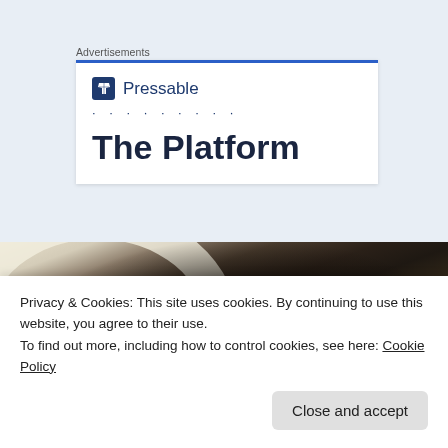Advertisements
[Figure (logo): Pressable logo with shield icon and company name, followed by dots and 'The Platform' headline in bold dark blue]
[Figure (photo): Close-up photo of dark soil or seeds in a white bowl]
Privacy & Cookies: This site uses cookies. By continuing to use this website, you agree to their use.
To find out more, including how to control cookies, see here: Cookie Policy
Close and accept